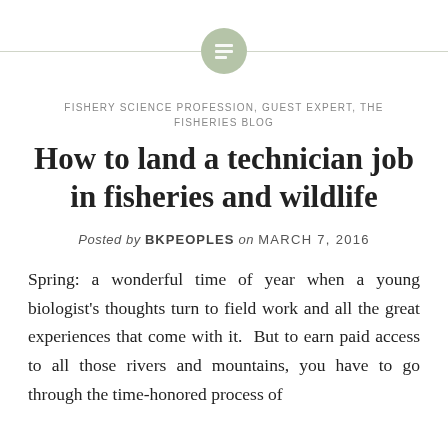[Figure (other): Decorative header with a horizontal line and a circular icon containing a text/document symbol in sage green]
FISHERY SCIENCE PROFESSION, GUEST EXPERT, THE FISHERIES BLOG
How to land a technician job in fisheries and wildlife
Posted by BKPEOPLES on MARCH 7, 2016
Spring: a wonderful time of year when a young biologist's thoughts turn to field work and all the great experiences that come with it. But to earn paid access to all those rivers and mountains, you have to go through the time-honored process of